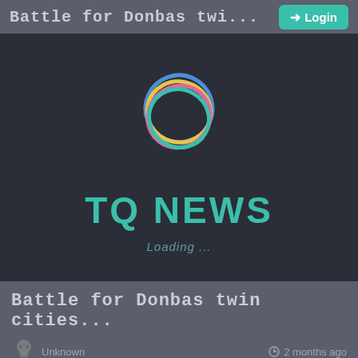Battle for Donbas twi...
[Figure (screenshot): TQ News app loading screen with colorful overlapping rings logo on dark background, showing 'TQ NEWS' in teal text and 'Loading ...' below]
Battle for Donbas twin cities...
Unknown   2 months ago